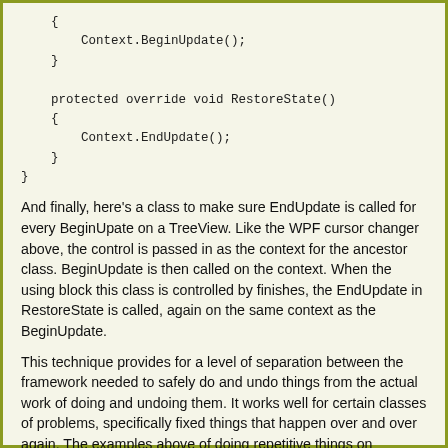{
        Context.BeginUpdate();
    }

    protected override void RestoreState()
    {
        Context.EndUpdate();
    }
}
And finally, here's a class to make sure EndUpdate is called for every BeginUpate on a TreeView. Like the WPF cursor changer above, the control is passed in as the context for the ancestor class. BeginUpdate is then called on the context. When the using block this class is controlled by finishes, the EndUpdate in RestoreState is called, again on the same context as the BeginUpdate.
This technique provides for a level of separation between the framework needed to safely do and undo things from the actual work of doing and undoing them. It works well for certain classes of problems, specifically fixed things that happen over and over again. The examples above of doing repetitive things on framework level items are good